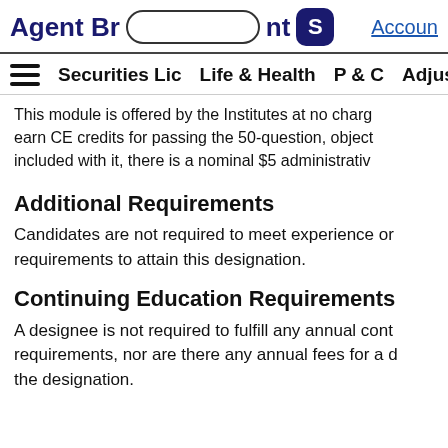Agent Broker Blueprint | Securities Lic Life & Health P & C Adjust | Account
This module is offered by the Institutes at no charge... earn CE credits for passing the 50-question, object... included with it, there is a nominal $5 administrativ...
Additional Requirements
Candidates are not required to meet experience or requirements to attain this designation.
Continuing Education Requirements
A designee is not required to fulfill any annual continuing education requirements, nor are there any annual fees for a designation holder to maintain the designation.